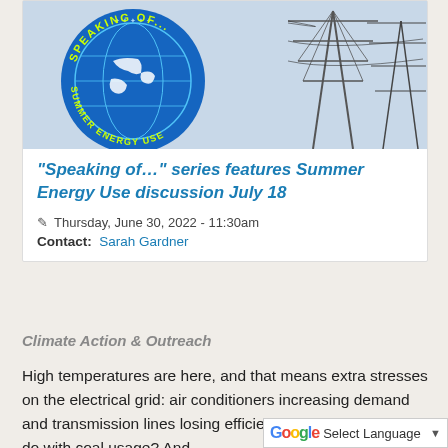[Figure (illustration): Blue circular logo with 'Speaking of... Summer Energy Use' text around a globe, overlaid on a photo of electrical transmission towers against a sky]
“Speaking of…” series features Summer Energy Use discussion July 18
Thursday, June 30, 2022 - 11:30am
Contact: Sarah Gardner
Climate Action & Outreach
High temperatures are here, and that means extra stresses on the electrical grid: air conditioners increasing demand and transmission lines losing efficiency. What’s this got to do with coal usage? And